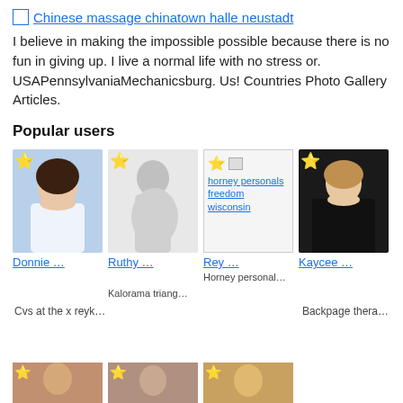Chinese massage chinatown halle neustadt
I believe in making the impossible possible because there is no fun in giving up. I live a normal life with no stress or. USAPennsylvaniaMechanicsburg. Us! Countries Photo Gallery Articles.
Popular users
[Figure (photo): User card: Donnie, young woman with long dark hair, star icon, blue link name, sub text empty]
[Figure (photo): User card: Ruthy, black and white photo of pregnant woman, star icon, blue link name, sub text: Kalorama triang...]
[Figure (photo): User card: Rey, image placeholder with link text 'horney personals freedom wisconsin', star icon, sub text: Horney personal...]
[Figure (photo): User card: Kaycee, woman in black blazer with blonde hair, star icon, blue link name]
Cvs at the x reyk...
Backpage thera...